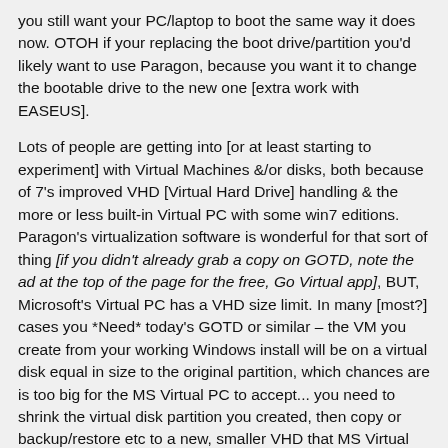you still want your PC/laptop to boot the same way it does now. OTOH if your replacing the boot drive/partition you'd likely want to use Paragon, because you want it to change the bootable drive to the new one [extra work with EASEUS].
Lots of people are getting into [or at least starting to experiment] with Virtual Machines &/or disks, both because of 7's improved VHD [Virtual Hard Drive] handling & the more or less built-in Virtual PC with some win7 editions. Paragon's virtualization software is wonderful for that sort of thing [if you didn't already grab a copy on GOTD, note the ad at the top of the page for the free, Go Virtual app], BUT, Microsoft's Virtual PC has a VHD size limit. In many [most?] cases you *Need* today's GOTD or similar – the VM you create from your working Windows install will be on a virtual disk equal in size to the original partition, which chances are is too big for the MS Virtual PC to accept... you need to shrink the virtual disk partition you created, then copy or backup/restore etc to a new, smaller VHD that MS Virtual PC can use. Note that there is an un-official portable version of Oracle's